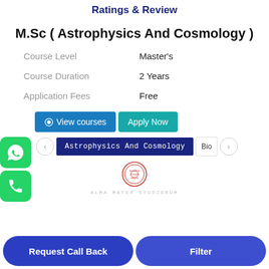Ratings & Review
M.Sc ( Astrophysics And Cosmology )
| Course Level | Master's |
| Course Duration | 2 Years |
| Application Fees | Free |
View courses | Apply Now
Astrophysics And Cosmology | Bio
[Figure (logo): University circular seal/logo in red]
ALMA MATER STUDIORUM
Request Call Back | Filter